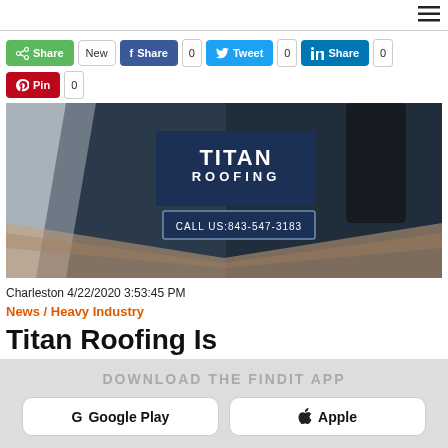☰
Share  New  Share 0  Tweet 0  Share 0  Pin 0
[Figure (photo): Titan Roofing banner image with logo and phone number CALL US: 843-547-3183]
Charleston 4/22/2020 3:53:45 PM
News / Heavy Industry
Titan Roofing Is
DOWNLOAD THE FINDIT APP
G Google Play   Apple